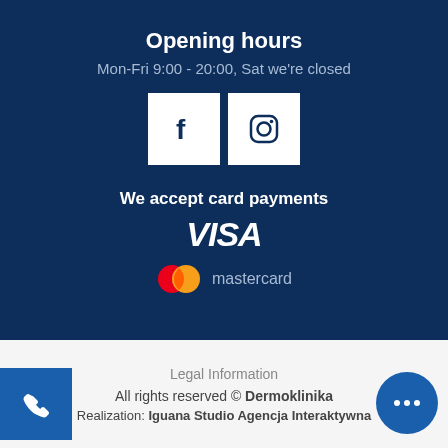Opening hours
Mon-Fri 9:00 - 20:00, Sat we're closed
[Figure (logo): Facebook and Instagram social media icon buttons (white squares with dark blue f and camera icons)]
We accept card payments
[Figure (logo): VISA logo in white italic bold text]
[Figure (logo): Mastercard logo with two overlapping circles (red and orange) and mastercard text]
Legal Information
All rights reserved © Dermoklinika
Realization: Iguana Studio Agencja Interaktywna